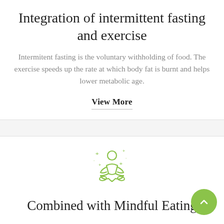Integration of intermittent fasting and exercise
Intermitent fasting is the voluntary withholding of food. The exercise speeds up the rate at which body fat is burnt and helps lower metabolic age.
View More
[Figure (illustration): Line art icon of a person meditating in lotus pose with sparkle/star accents, drawn in green]
Combined with Mindful Eating
Mindfulness is focusing the attention on the present moment. It can be applied as much to eating and drinking as to anything else.